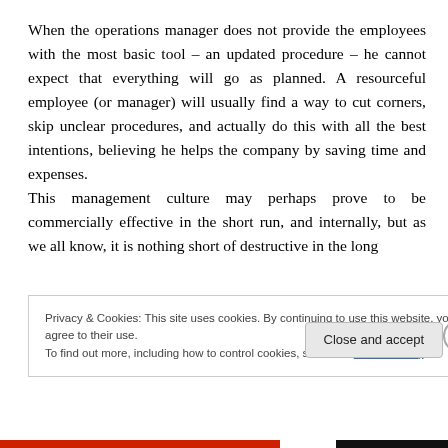When the operations manager does not provide the employees with the most basic tool – an updated procedure – he cannot expect that everything will go as planned. A resourceful employee (or manager) will usually find a way to cut corners, skip unclear procedures, and actually do this with all the best intentions, believing he helps the company by saving time and expenses. This management culture may perhaps prove to be commercially effective in the short run, and internally, but as we all know, it is nothing short of destructive in the long
Privacy & Cookies: This site uses cookies. By continuing to use this website, you agree to their use.
To find out more, including how to control cookies, see here: Cookie Policy